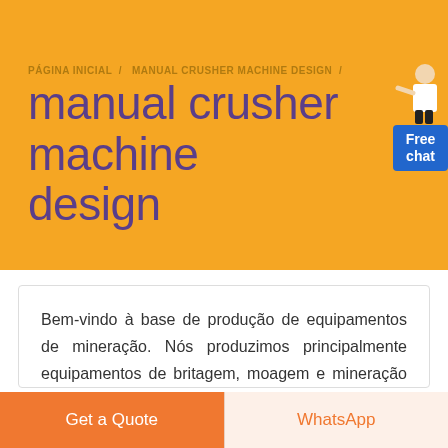PÁGINA INICIAL / MANUAL CRUSHER MACHINE DESIGN /
manual crusher machine design
[Figure (illustration): A person in a white outfit pointing, next to a blue button labeled 'Free chat']
Bem-vindo à base de produção de equipamentos de mineração. Nós produzimos principalmente equipamentos de britagem, moagem e mineração relacionados. Se tiver alguma necessidade, pode contactar...
Get a Quote
WhatsApp